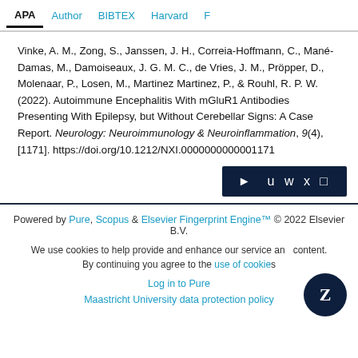APA | Author | BIBTEX | Harvard | F
Vinke, A. M., Zong, S., Janssen, J. H., Correia-Hoffmann, C., Mané-Damas, M., Damoiseaux, J. G. M. C., de Vries, J. M., Pröpper, D., Molenaar, P., Losen, M., Martinez Martinez, P., & Rouhl, R. P. W. (2022). Autoimmune Encephalitis With mGluR1 Antibodies Presenting With Epilepsy, but Without Cerebellar Signs: A Case Report. Neurology: Neuroimmunology & Neuroinflammation, 9(4), [1171]. https://doi.org/10.1212/NXI.0000000000001171
Powered by Pure, Scopus & Elsevier Fingerprint Engine™ © 2022 Elsevier B.V.
We use cookies to help provide and enhance our service and content. By continuing you agree to the use of cookies
Log in to Pure
Maastricht University data protection policy